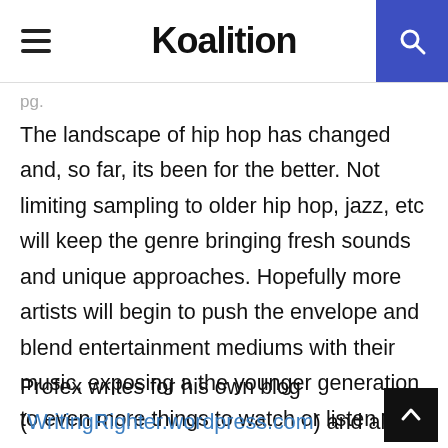Koalition
pg.
The landscape of hip hop has changed and, so far, its been for the better. Not limiting sampling to older hip hop, jazz, etc will keep the genre bringing fresh sounds and unique approaches. Hopefully more artists will begin to push the envelope and blend entertainment mediums with their music, exposing a the younger generation to even more things to watch or listen to.
Profex writes for his own blog (WritingRighter.wordpress.com) and also does